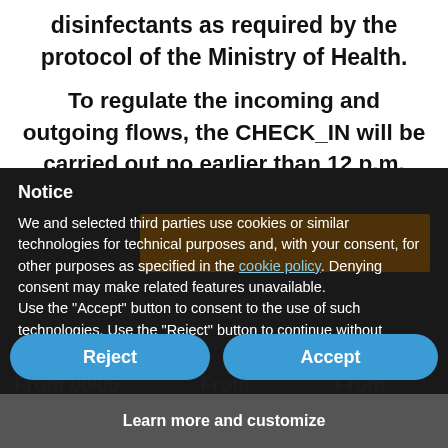disinfectants as required by the protocol of the Ministry of Health.
To regulate the incoming and outgoing flows, the CHECK_IN will be carried out no earlier than 12 p.m.
Notice
We and selected third parties use cookies or similar technologies for technical purposes and, with your consent, for other purposes as specified in the cookie policy. Denying consent may make related features unavailable.
Use the "Accept" button to consent to the use of such technologies. Use the "Reject" button to continue without accepting.
From 08/05
to 18/06
From
19/06 to
30/07
From
07 to
06/08
From € 36,00
Nove Colli and "ponte del 2 giugno"
Reject
Accept
Learn more and customize